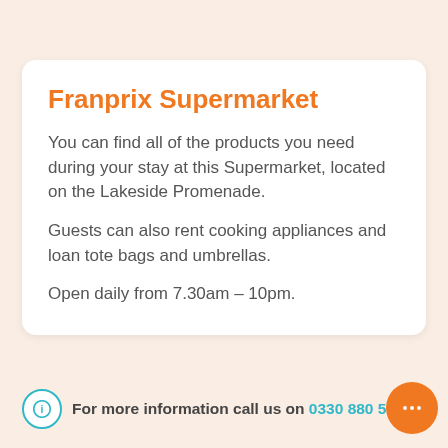Franprix Supermarket
You can find all of the products you need during your stay at this Supermarket, located on the Lakeside Promenade.
Guests can also rent cooking appliances and loan tote bags and umbrellas.
Open daily from 7.30am – 10pm.
For more information call us on 0330 880 5